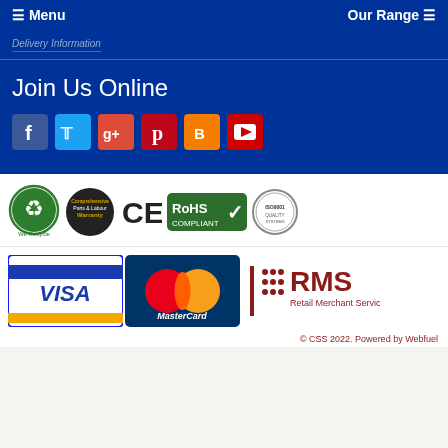☰ Menu   Our Range ☰
Delivery Information
Join Us Online
[Figure (logo): Social media icons: Facebook, Twitter, Google+, Pinterest, Blogger, YouTube]
[Figure (logo): Certification badges: We Recycle, Comprehensive Parts & Labour Warranty, CE mark, RoHS Compliant, ISO 9001]
[Figure (logo): Payment logos: VISA, MasterCard, RMS Retail Merchant Services]
© CSS 2022. Powered by Webfuel